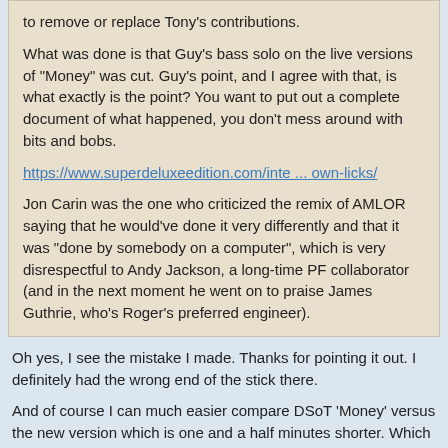to remove or replace Tony's contributions.

What was done is that Guy's bass solo on the live versions of "Money" was cut. Guy's point, and I agree with that, is what exactly is the point? You want to put out a complete document of what happened, you don't mess around with bits and bobs.

https://www.superdeluxeedition.com/inte ... own-licks/

Jon Carin was the one who criticized the remix of AMLOR saying that he would've done it very differently and that it was "done by somebody on a computer", which is very disrespectful to Andy Jackson, a long-time PF collaborator (and in the next moment he went on to praise James Guthrie, who's Roger's preferred engineer).
Oh yes, I see the mistake I made. Thanks for pointing it out. I definitely had the wrong end of the stick there.
And of course I can much easier compare DSoT 'Money' versus the new version which is one and a half minutes shorter. Which I have done.
The AMLoR remix removes less of the 80s from the recording than I would have preferred, but I don't that someone saying they would have done things differently, even Jon Carin, is that unsurprisingly. I'm sure that any producer/remixer would have done something differently.